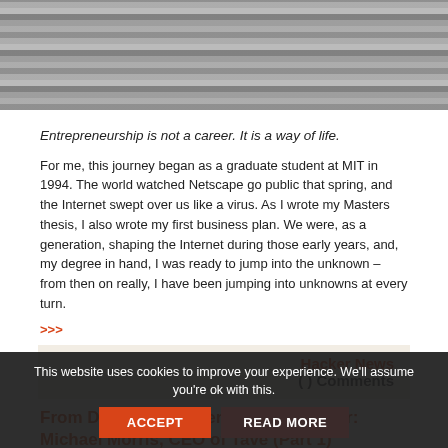[Figure (photo): Top portion of a photo showing a modern curved/striped building or textile pattern in black and white]
Entrepreneurship is not a career. It is a way of life.
For me, this journey began as a graduate student at MIT in 1994. The world watched Netscape go public that spring, and the Internet swept over us like a virus. As I wrote my Masters thesis, I also wrote my first business plan. We were, as a generation, shaping the Internet during those early years, and, my degree in hand, I was ready to jump into the unknown – from then on really, I have been jumping into unknowns at every turn.
>>>
Hacker News
(
) Comments
From Developer to Serial Entrepreneur: Michael Morris, CEO of Tave (Part 1)
This website uses cookies to improve your experience. We'll assume you're ok with this.